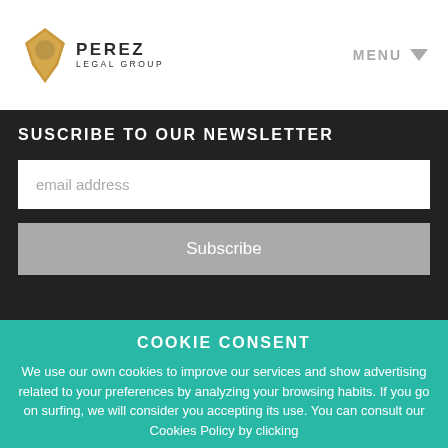[Figure (logo): Perez Legal Group logo with golden map pointer icon and text PEREZ LEGAL GROUP]
MENU
SUSCRIBE TO OUR NEWSLETTER
email address
Subscribe
COOKIE CONSENT
We use our own cookies to improve our services and show advertising related to your preferences by analyzing your browsing habits. If you go on surfing, we will consider you accepting its use. You can consult our Cookies Policy by clicking
here. Accept